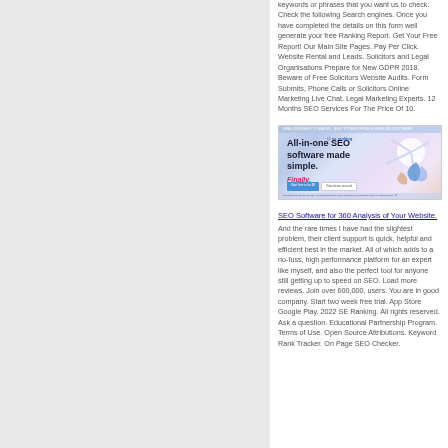keywords or phrases that you want us to check. Check the following Search engines. Once you have completed the details on this form well generate your free Ranking Report. Get Your Free Report! Our Main Site Pages. Pay Per Click. Website Rental and Leads. Solicitors and Legal Organisations Prepare for New GDPR 2018. Beware of Free Solicitors Website Audits. Form Submits, Phone Calls or Solicitors Online Marketing Live Chat. Legal Marketing Experts. 12 Months SEO Services For The Price Of 10.
[Figure (screenshot): Screenshot of SE Ranking website showing 'All-in-one SEO software made simple. Finally.' with decorative illustration and call-to-action buttons.]
SEO Software for 360 Analysis of Your Website.
And the rare times I have had the slightest problem, their client support is quick, helpful and efficient best in the market. All of which adds to a no-fuss, high performance platform for an expert like myself, and also the perfect tool for anyone still getting up to speed on SEO. Load more reviews. Join over 600,000, users. You are in good company. Start two week free trial. App Store Google Play. 2022 SE Ranking. All rights reserved. Ask a question. Educational Partnership Program. Terms of Use. Open Source Attributions. Keyword Rank Tracker. On Page SEO Checker.